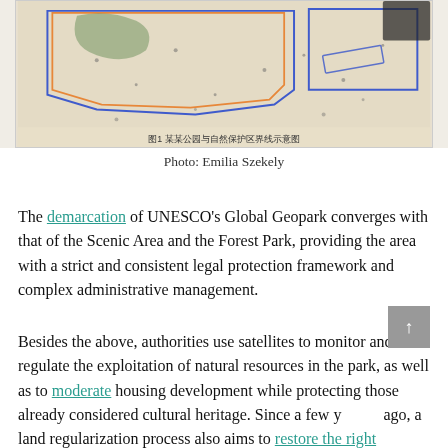[Figure (photo): Aerial/satellite map photograph showing colored boundary lines (blue, orange) overlaid on a topographic map of what appears to be a Chinese geopark or protected area. Chinese text caption visible at bottom of photo.]
Photo: Emilia Szekely
The demarcation of UNESCO’s Global Geopark converges with that of the Scenic Area and the Forest Park, providing the area with a strict and consistent legal protection framework and complex administrative management.
Besides the above, authorities use satellites to monitor and regulate the exploitation of natural resources in the park, as well as to moderate housing development while protecting those already considered cultural heritage. Since a few years ago, a land regularization process also aims to restore the right